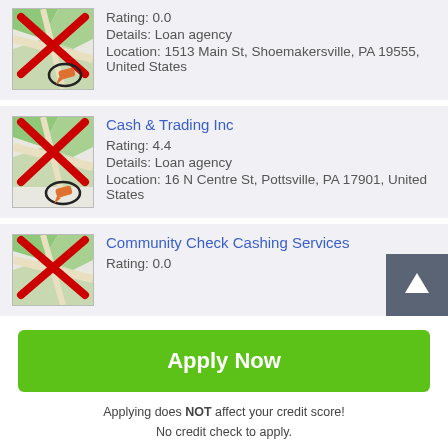Rating: 0.0
Details: Loan agency
Location: 1513 Main St, Shoemakersville, PA 19555, United States
Cash & Trading Inc
Rating: 4.4
Details: Loan agency
Location: 16 N Centre St, Pottsville, PA 17901, United States
Community Check Cashing Services
Rating: 0.0
Apply Now
Applying does NOT affect your credit score!
No credit check to apply.